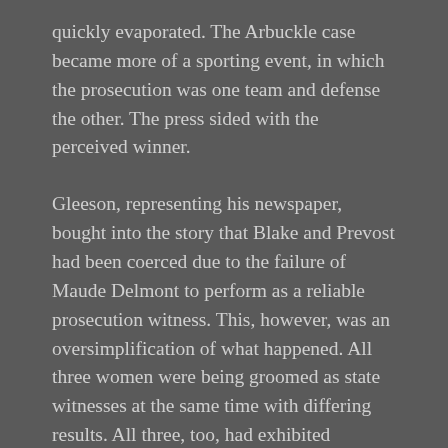quickly evaporated. The Arbuckle case became more of a sporting event, in which the prosecution was one team and defense the other. The press sided with the perceived winner.
Gleeson, representing his newspaper, bought into the story that Blake and Prevost had been coerced due to the failure of Maude Delmont to perform as a reliable prosecution witness. This, however, was an oversimplification of what happened. All three women were being groomed as state witnesses at the same time with differing results. All three, too, had exhibited trepidation at having to relive what happened on September 5. They would bear the responsibility of violating a kind of show business omertà that extended from movie stars paid millions (Arbuckle) to a Sennett